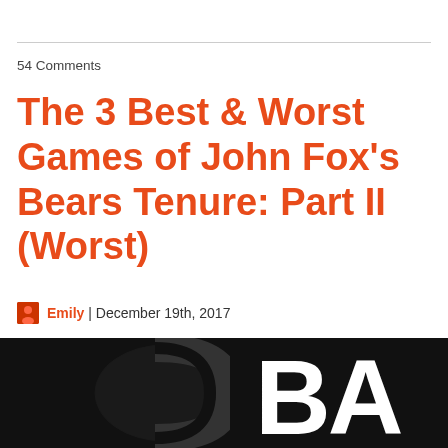54 Comments
The 3 Best & Worst Games of John Fox's Bears Tenure: Part II (Worst)
Emily | December 19th, 2017
[Figure (photo): A black coffee mug with white bold text reading 'BA' (partially visible), shown from the side with the handle visible on the left.]